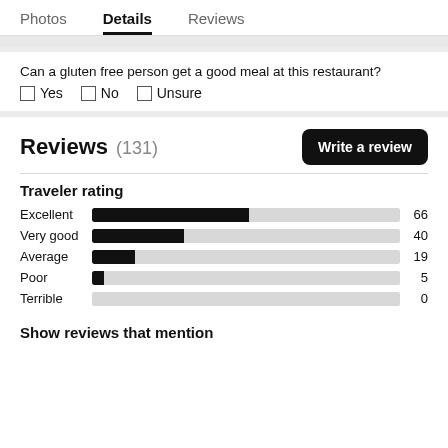Photos   Details   Reviews
Can a gluten free person get a good meal at this restaurant?
☐ Yes   ☐ No   ☐ Unsure
Reviews (131)
[Figure (bar-chart): Traveler rating]
Show reviews that mention